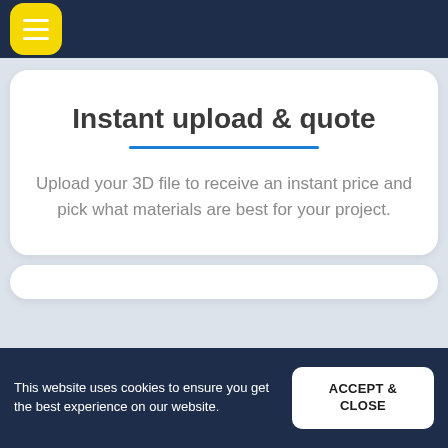[Figure (screenshot): Navigation bar with yellow rounded menu button containing three white horizontal lines]
Instant upload & quote
Upload your 3D file to receive an instant price and pick what materials are best for your project.
This website uses cookies to ensure you get the best experience on our website.
ACCEPT & CLOSE